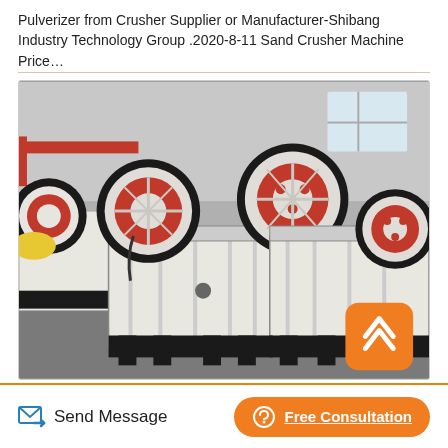Pulverizer from Crusher Supplier or Manufacturer-Shibang Industry Technology Group .2020-8-11 Sand Crusher Machine Price…
[Figure (photo): Industrial jaw crusher machines in a factory setting. Multiple large white and black crusher units with red and black flywheels are arranged in a factory floor with grey concrete, industrial lighting visible in the background.]
Send Message
Free Consultation